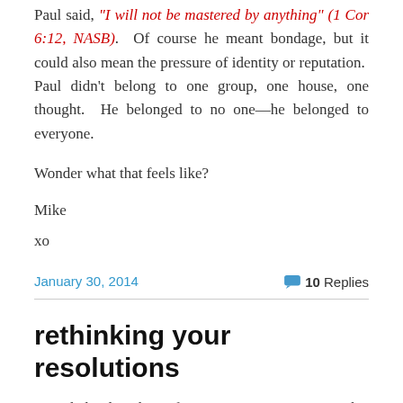Paul said, "I will not be mastered by anything" (1 Cor 6:12, NASB).  Of course he meant bondage, but it could also mean the pressure of identity or reputation.  Paul didn't belong to one group, one house, one thought.  He belonged to no one—he belonged to everyone.
Wonder what that feels like?
Mike
xo
January 30, 2014
10 Replies
rethinking your resolutions
I work hard to keep from posting sermon's on this blog.